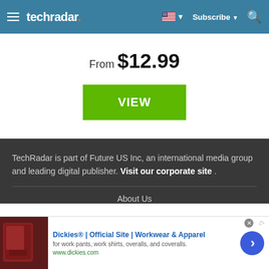techradar  Subscribe
From $12.99
VIEW
TechRadar is part of Future US Inc, an international media group and leading digital publisher. Visit our corporate site .
About Us
[Figure (screenshot): Advertisement banner for Dickies Official Site - Workwear and Apparel, showing a leather chair image, ad title, subtitle about work pants, work shirts, overalls, and coveralls, URL www.dickies.com, and a blue circular arrow button.]